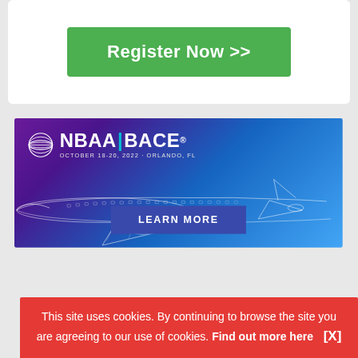[Figure (other): Green 'Register Now >>' button on white card background]
[Figure (infographic): NBAA BACE advertisement banner. Purple to blue gradient background with wireframe airplane. Text: NBAA|BACE. OCTOBER 18-20, 2022 · ORLANDO, FL. Button: LEARN MORE]
This site uses cookies. By continuing to browse the site you are agreeing to our use of cookies. Find out more here   [X]